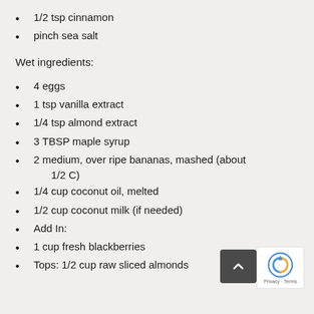1/2 tsp cinnamon
pinch sea salt
Wet ingredients:
4 eggs
1 tsp vanilla extract
1/4 tsp almond extract
3 TBSP maple syrup
2 medium, over ripe bananas, mashed (about 1/2 C)
1/4 cup coconut oil, melted
1/2 cup coconut milk (if needed)
Add In:
1 cup fresh blackberries
Tops: 1/2 cup raw sliced almonds